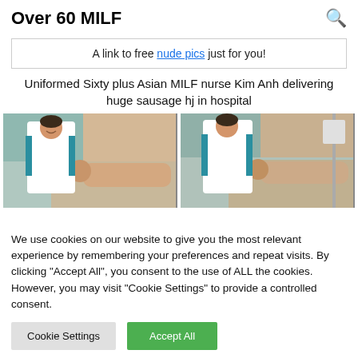Over 60 MILF
A link to free nude pics just for you!
Uniformed Sixty plus Asian MILF nurse Kim Anh delivering huge sausage hj in hospital
[Figure (photo): Two side-by-side photos of a nurse in a white and teal uniform in a hospital room with a patient in a bed]
We use cookies on our website to give you the most relevant experience by remembering your preferences and repeat visits. By clicking "Accept All", you consent to the use of ALL the cookies. However, you may visit "Cookie Settings" to provide a controlled consent.